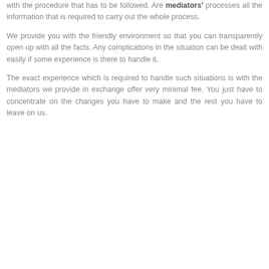with the procedure that has to be followed. Are mediators' processes all the information that is required to carry out the whole process.
We provide you with the friendly environment so that you can transparently open up with all the facts. Any complications in the situation can be dealt with easily if some experience is there to handle it.
The exact experience which is required to handle such situations is with the mediators we provide in exchange offer very minimal fee. You just have to concentrate on the changes you have to make and the rest you have to leave on us.